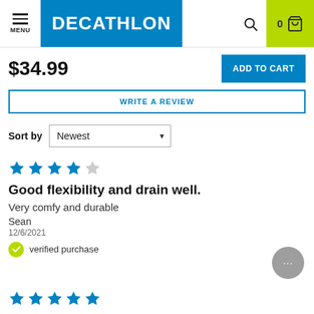DECATHLON
$34.99
ADD TO CART
WRITE A REVIEW
Sort by Newest
Good flexibility and drain well.
Very comfy and durable
Sean
12/6/2021
verified purchase